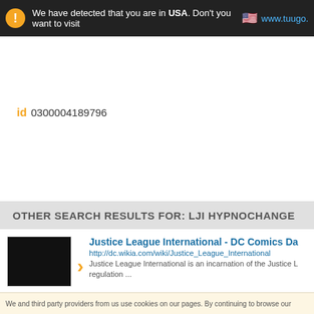We have detected that you are in USA. Don't you want to visit www.tuugo.
Keywords:
Health & Medicine; Therapy & Co
Hypnosis & Hypnotherapy Notting
LJI Hypnochange - Nottingham
id 0300004189796
OTHER SEARCH RESULTS FOR: LJI HYPNOCHANGE
Justice League International - DC Comics Da
http://dc.wikia.com/wiki/Justice_League_International
Justice League International is an incarnation of the Justice L
regulation ...
La Jolla Institute for Allergy & Immunology ::
http://www.liai.org/
La Jolla Institute for Allergy & Immunology. We have relied o
L & J Industries, Inc. | Over 50 Years Building
http://ljind.com/
We and third party providers from us use cookies on our pages. By continuing to browse our